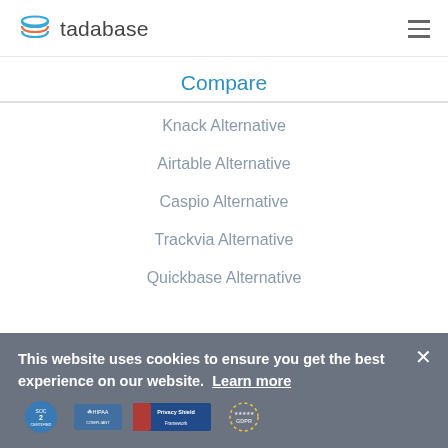tadabase
Compare
Knack Alternative
Airtable Alternative
Caspio Alternative
Trackvia Alternative
Quickbase Alternative
This website uses cookies to ensure you get the best experience on our website. Learn more